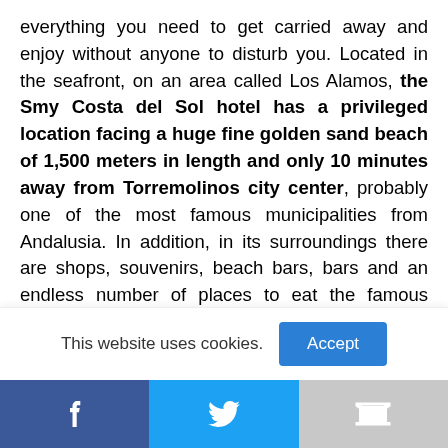everything you need to get carried away and enjoy without anyone to disturb you. Located in the seafront, on an area called Los Alamos, the Smy Costa del Sol hotel has a privileged location facing a huge fine golden sand beach of 1,500 meters in length and only 10 minutes away from Torremolinos city center, probably one of the most famous municipalities from Andalusia. In addition, in its surroundings there are shops, souvenirs, beach bars, bars and an endless number of places to eat the famous sardines of Malaga. A delicacy within everyone's reach!
This website uses cookies.
[Figure (other): Social share bar with Facebook, Twitter, and Gmail icons]